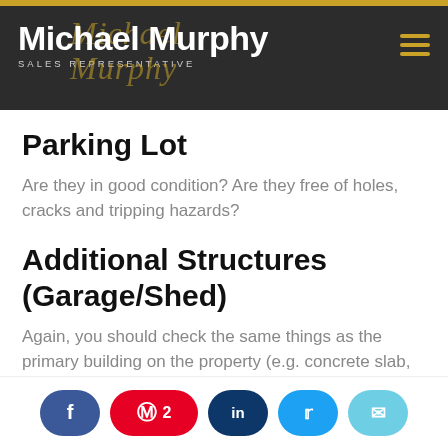Michael Murphy SALES REPRESENTATIVE
Parking Lot
Are they in good condition? Are they free of holes, cracks and tripping hazards?
Additional Structures (Garage/Shed)
Again, you should check the same things as the primary building on the property (e.g. concrete slab, walls, ceiling, vents, lights, windows, roof
Share buttons: Facebook, Pinterest 2, LinkedIn, Twitter, Email